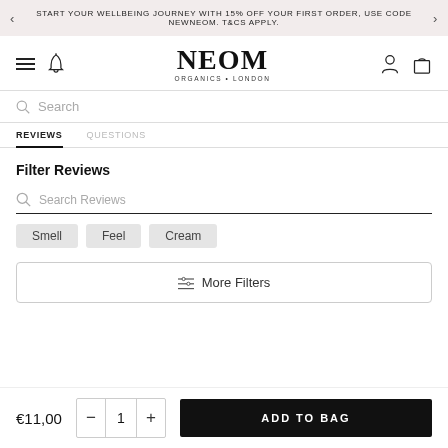START YOUR WELLBEING JOURNEY WITH 15% OFF YOUR FIRST ORDER, USE CODE NEWNEOM. T&CS APPLY.
[Figure (logo): NEOM ORGANICS · LONDON logo with hamburger menu, bell icon, user icon, and bag icon in navigation bar]
Search
REVIEWS   QUESTIONS
Filter Reviews
Search Reviews
Smell
Feel
Cream
≡ More Filters
€11,00  − 1 +  ADD TO BAG